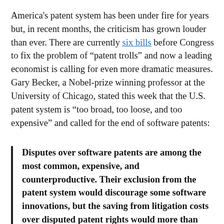America's patent system has been under fire for years but, in recent months, the criticism has grown louder than ever. There are currently six bills before Congress to fix the problem of “patent trolls” and now a leading economist is calling for even more dramatic measures. Gary Becker, a Nobel-prize winning professor at the University of Chicago, stated this week that the U.S. patent system is “too broad, too loose, and too expensive” and called for the end of software patents:
Disputes over software patents are among the most common, expensive, and counterproductive. Their exclusion from the patent system would discourage some software innovations, but the saving from litigation costs over disputed patent rights would more than compensate the economy for that cost.